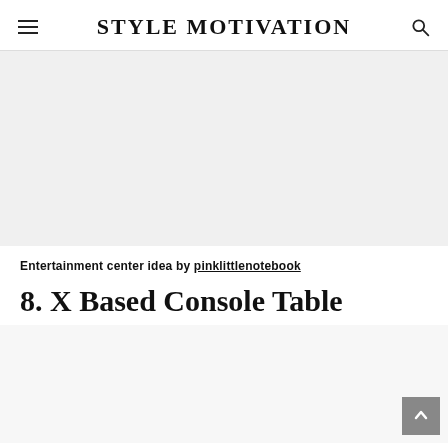STYLE MOTIVATION
[Figure (photo): Blank image placeholder area for an entertainment center photo]
Entertainment center idea by pinklittlenotebook
8. X Based Console Table
[Figure (photo): Blank image placeholder area for X Based Console Table photo]